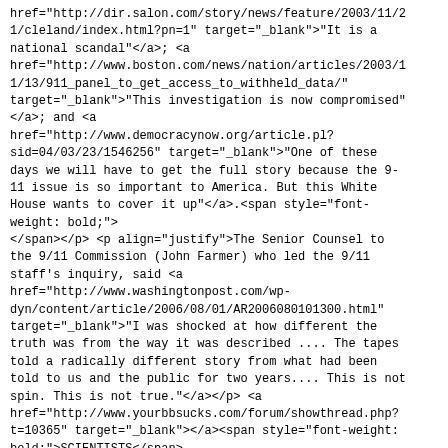href="http://dir.salon.com/story/news/feature/2003/11/21/cleland/index.html?pn=1" target="_blank">"It is a national scandal"</a>;   <a href="http://www.boston.com/news/nation/articles/2003/11/13/911_panel_to_get_access_to_withheld_data/" target="_blank">"This investigation is now compromised"</a>;   and <a href="http://www.democracynow.org/article.pl?sid=04/03/23/1546256" target="_blank">"One of these days we will have to get the full story because the 9-11 issue is so important to America. But this White House wants to cover it up"</a>.<span style="font-weight: bold;"> </span></p> <p align="justify">The Senior Counsel to the 9/11 Commission (John Farmer) who led the 9/11 staff's inquiry, said  <a href="http://www.washingtonpost.com/wp-dyn/content/article/2006/08/01/AR2006080101300.html" target="_blank">"I was shocked at how different the truth was from the way it was described .... The tapes told a radically different story from what had been told to us and the public for two years.... This is not spin. This is not true."</a></p> <a href="http://www.yourbbsucks.com/forum/showthread.php?t=10365" target="_blank"></a><span style="font-weight: bold;">SCIENTISTS</span>

<a href="http://www.opednews.com/articles/genera_alan_mil_070820_former_chief_of_nist.htm"></a>A prominent